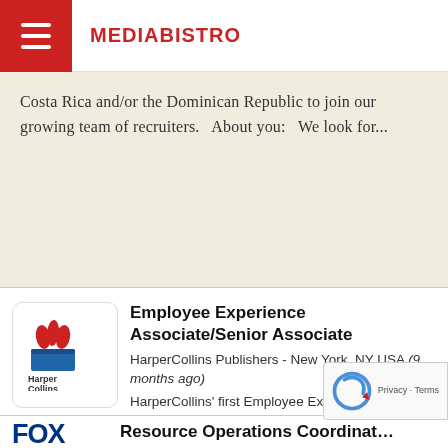MEDIABISTRO
Costa Rica and/or the Dominican Republic to join our growing team of recruiters.   About you:   We look for...
Employee Experience Associate/Senior Associate
HarperCollins Publishers - New York, NY USA (9 months ago)
HarperCollins' first Employee Experience Associate/ Senior Associate will help shape and maintain a positive, rewarding work environment that attra...
Resource Operations Coordinat…